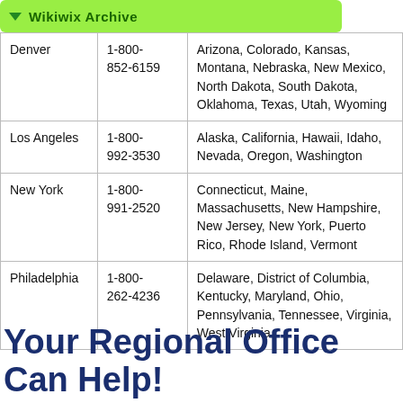| City | Phone | States |
| --- | --- | --- |
| Denver | 1-800-852-6159 | Arizona, Colorado, Kansas, Montana, Nebraska, New Mexico, North Dakota, South Dakota, Oklahoma, Texas, Utah, Wyoming |
| Los Angeles | 1-800-992-3530 | Alaska, California, Hawaii, Idaho, Nevada, Oregon, Washington |
| New York | 1-800-991-2520 | Connecticut, Maine, Massachusetts, New Hampshire, New Jersey, New York, Puerto Rico, Rhode Island, Vermont |
| Philadelphia | 1-800-262-4236 | Delaware, District of Columbia, Kentucky, Maryland, Ohio, Pennsylvania, Tennessee, Virginia, West Virginia |
Your Regional Office Can Help!